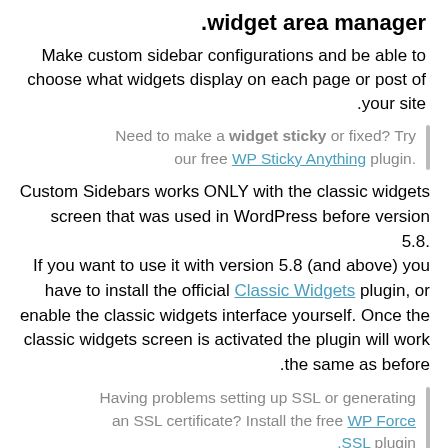.widget area manager
Make custom sidebar configurations and be able to choose what widgets display on each page or post of your site.
Need to make a widget sticky or fixed? Try our free WP Sticky Anything plugin.
Custom Sidebars works ONLY with the classic widgets screen that was used in WordPress before version 5.8. If you want to use it with version 5.8 (and above) you have to install the official Classic Widgets plugin, or enable the classic widgets interface yourself. Once the classic widgets screen is activated the plugin will work the same as before.
Having problems setting up SSL or generating an SSL certificate? Install the free WP Force SSL plugin